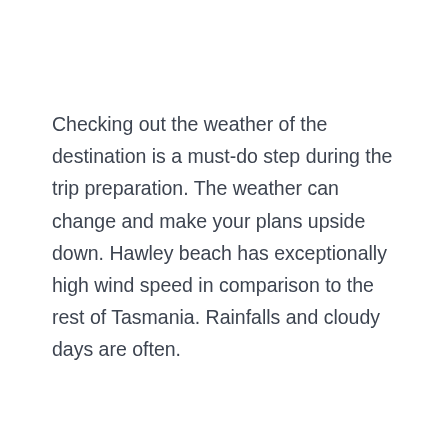Checking out the weather of the destination is a must-do step during the trip preparation. The weather can change and make your plans upside down. Hawley beach has exceptionally high wind speed in comparison to the rest of Tasmania. Rainfalls and cloudy days are often.